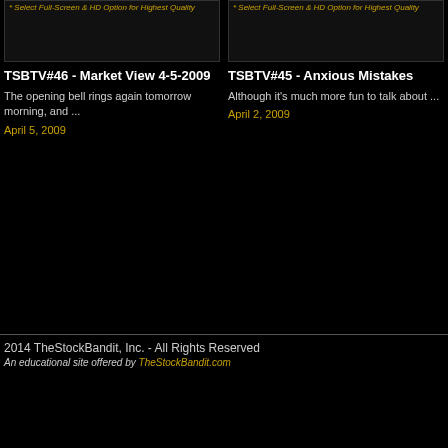[Figure (screenshot): Video thumbnail for TSBTV#46 with golden italic text '* Select Full-Screen & HD Option for Highest Quality' on dark background]
TSBTV#46 - Market View 4-5-2009
The opening bell rings again tomorrow morning, and ...
April 5, 2009
[Figure (screenshot): Video thumbnail for TSBTV#45 with golden italic text '* Select Full-Screen & HD Option for Highest Quality' on dark background]
TSBTV#45 - Anxious Mistakes
Although it's much more fun to talk about ...
April 2, 2009
2014 TheStockBandit, Inc. - All Rights Reserved
An educational site offered by TheStockBandit.com